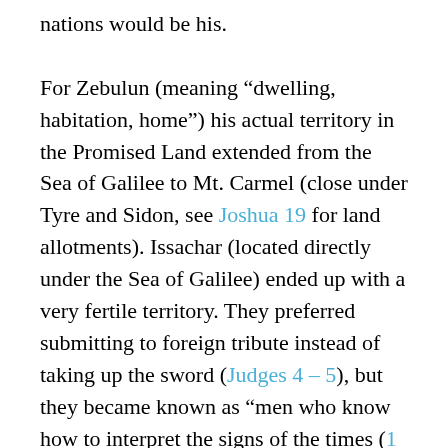nations would be his.

For Zebulun (meaning “dwelling, habitation, home”) his actual territory in the Promised Land extended from the Sea of Galilee to Mt. Carmel (close under Tyre and Sidon, see Joshua 19 for land allotments). Issachar (located directly under the Sea of Galilee) ended up with a very fertile territory. They preferred submitting to foreign tribute instead of taking up the sword (Judges 4 – 5), but they became known as “men who know how to interpret the signs of the times (1 Chron. 12:33).” Dan (meaning “judge”) ended up judging the land of Israel through Samson (Judges 13–16), and through one man God brought destruction to the Philistines. Gad (meaning “troop, fortunate”) succeeded in repelling the Ammonites, Moabites and Arameans. Asher’s inheritance was the coast north of Mt. Carmel, and as such it was a